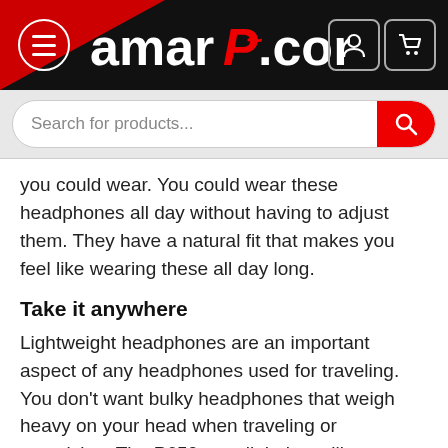[Figure (screenshot): AmarPC.com website header with hamburger menu, logo, user and cart icons]
[Figure (screenshot): Search bar with placeholder 'Search for products...' and red search button]
you could wear. You could wear these headphones all day without having to adjust them. They have a natural fit that makes you feel like wearing these all day long.
Take it anywhere
Lightweight headphones are an important aspect of any headphones used for traveling. You don’t want bulky headphones that weigh heavy on your head when traveling or exercising. The P650s are light but will stay on your head unless you want to take them off. This makes them great for those that want to exercise and use headphones at the same time.